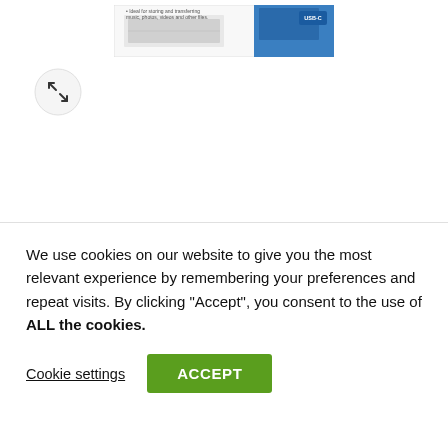[Figure (photo): Product image at top - external SSD in packaging with blue USB-C badge]
[Figure (photo): Expand/fullscreen icon button (circle with arrows)]
[Figure (photo): Three product thumbnail images: left - SSD in box packaging, center - SSD device alone, right - SSD in box packaging]
Home / Hardware & Components / PC Components / Hard Drives / SSD Drives / External SSD
We use cookies on our website to give you the most relevant experience by remembering your preferences and repeat visits. By clicking "Accept", you consent to the use of ALL the cookies.
Cookie settings
ACCEPT